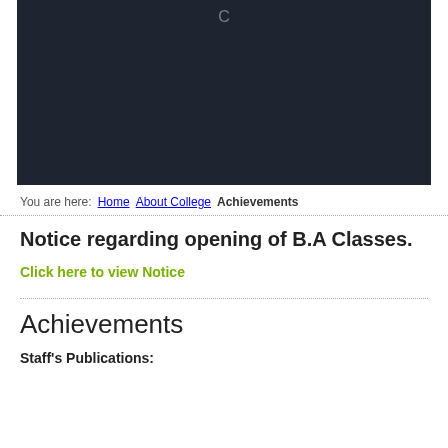[Figure (screenshot): Dark navy banner with a loading spinner letter C at the top center]
You are here:   Home   About College   Achievements
Notice regarding opening of B.A Classes.
Click here to view Notice
Achievements
Staff's Publications: